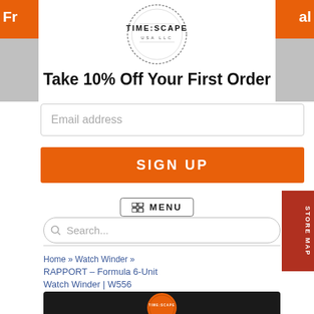[Figure (logo): TIME:SCAPE USA LLC circular logo with dotted border]
Take 10% Off Your First Order
Email address
SIGN UP
MENU
Search...
Home » Watch Winder » RAPPORT - Formula 6-Unit Watch Winder | W556
[Figure (photo): Watch winder product image with TIME:SCAPE watermark overlay]